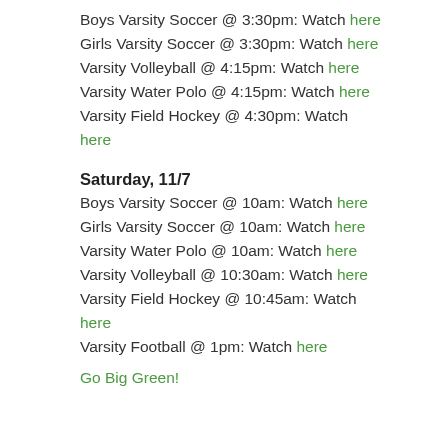Boys Varsity Soccer @ 3:30pm: Watch here
Girls Varsity Soccer @ 3:30pm: Watch here
Varsity Volleyball @ 4:15pm: Watch here
Varsity Water Polo @ 4:15pm: Watch here
Varsity Field Hockey @ 4:30pm: Watch here
Saturday, 11/7
Boys Varsity Soccer @ 10am: Watch here
Girls Varsity Soccer @ 10am: Watch here
Varsity Water Polo @ 10am: Watch here
Varsity Volleyball @ 10:30am: Watch here
Varsity Field Hockey @ 10:45am: Watch here
Varsity Football @ 1pm: Watch here
Go Big Green!